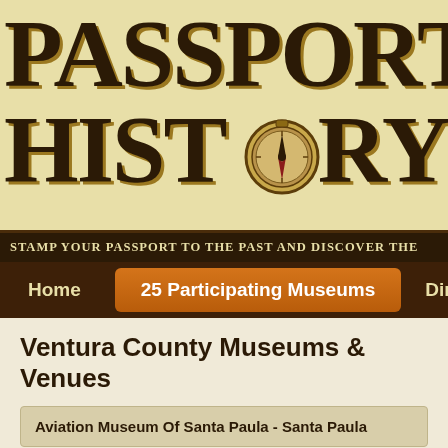[Figure (logo): Passport to History logo with large decorative text PASSPORT HISTORY and a compass image replacing the letter O in HISTORY, on a parchment/cream background]
STAMP YOUR PASSPORT TO THE PAST AND DISCOVER THE
25 Participating Museums
Ventura County Museums & Venues
Aviation Museum Of Santa Paula - Santa Paula
California Oil Museum - Santa Paula
Camarillo Ranch House - Camarillo